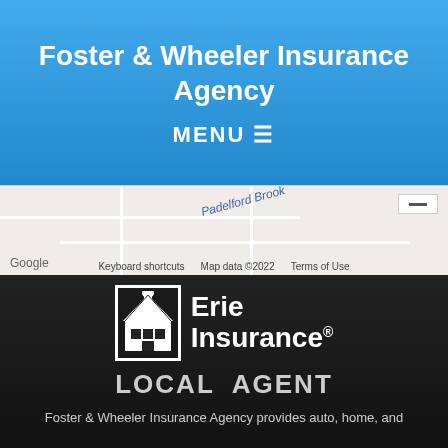Foster & Wheeler Insurance Agency
MENU ☰
[Figure (screenshot): Google Maps snippet showing Padelford Brook area with keyboard shortcuts, Map data ©2022, Terms of Use, and a minus zoom button]
[Figure (logo): Erie Insurance logo with building/house icon in white box on dark background, with text 'Erie Insurance' and registered trademark symbol]
LOCAL AGENT
Foster & Wheeler Insurance Agency provides auto, home, and